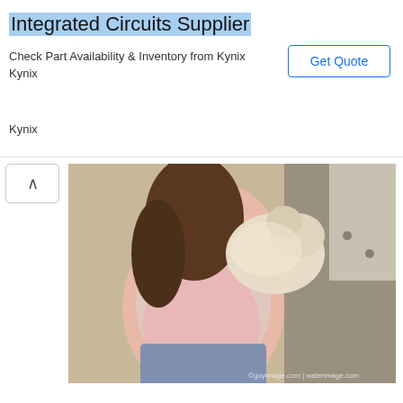[Figure (screenshot): Advertisement banner for Integrated Circuits Supplier from Kynix. Title: 'Integrated Circuits Supplier', subtitle: 'Check Part Availability & Inventory from Kynix', source: 'Kynix', with a 'Get Quote' button on the right.]
[Figure (photo): Photo of a woman in a pink top sitting on a couch holding a small fluffy puppy. The dog appears to be giving her kisses. Watermark visible at bottom right.]
I love my fur baby and this picture of us. His puppy dog kisses lets me know he loves me too!
[Figure (photo): Photo of a dog wearing a red party hat with a paw print design on a circular badge, sitting on a couch near a pillow and flowers.]